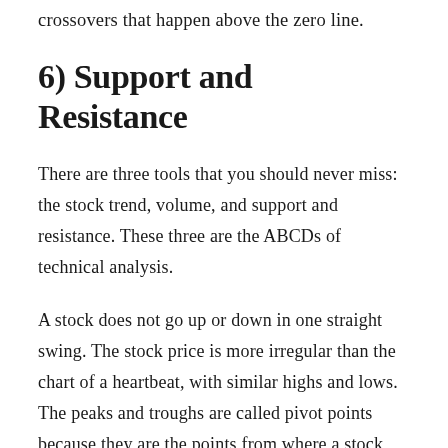crossovers that happen above the zero line.
6) Support and Resistance
There are three tools that you should never miss: the stock trend, volume, and support and resistance. These three are the ABCDs of technical analysis.
A stock does not go up or down in one straight swing. The stock price is more irregular than the chart of a heartbeat, with similar highs and lows. The peaks and troughs are called pivot points because they are the points from where a stock reverses its trend.